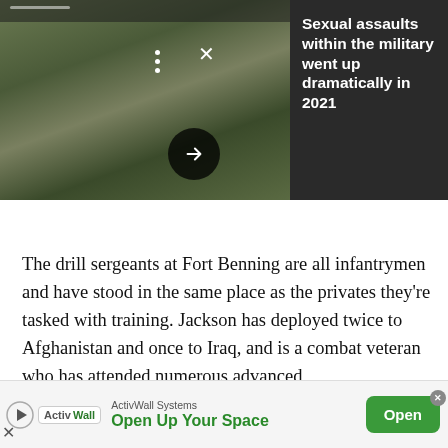[Figure (photo): Photo of soldiers in camouflage uniforms gathered in a group at Fort Benning, with a dark panel overlay showing a news headline about sexual assaults in the military. Includes navigation dots, an X close icon, and a forward arrow button.]
Sexual assaults within the military went up dramatically in 2021
The drill sergeants at Fort Benning are all infantrymen and have stood in the same place as the privates they're tasked with training. Jackson has deployed twice to Afghanistan and once to Iraq, and is a combat veteran who has attended numerous advanced
[Figure (infographic): Advertisement banner for ActivWall Systems reading 'Open Up Your Space' with a green 'Open' button.]